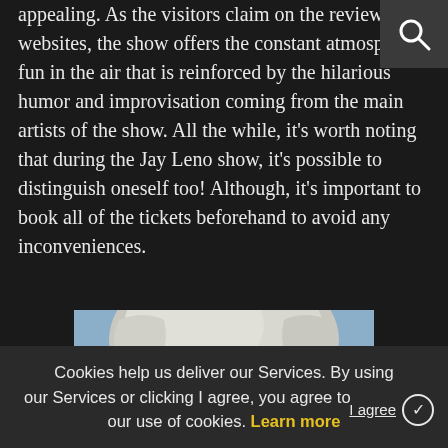appealing. As the visitors claim on the review websites, the show offers the constant atmosphere of fun in the air that is reinforced by the hilarious humor and improvisation coming from the main artists of the show. All the while, it's worth noting that during the Jay Leno show, it's possible to distinguish oneself too! Although, it's important to book all of the tickets beforehand to avoid any inconveniences.
[Figure (photo): Close-up photo of Jay Leno's face and silver/white hair against a light blue background]
Cookies help us deliver our Services. By using our Services or clicking I agree, you agree to our use of cookies. Learn more